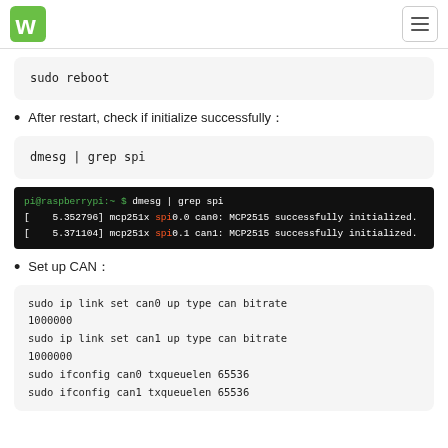Waveshare logo and navigation
sudo reboot
After restart, check if initialize successfully：
dmesg | grep spi
[Figure (screenshot): Terminal output showing: pi@raspberrypi:~ $ dmesg | grep spi
[ 5.352796] mcp251x spi0.0 can0: MCP2515 successfully initialized.
[ 5.371104] mcp251x spi0.1 can1: MCP2515 successfully initialized.]
Set up CAN：
sudo ip link set can0 up type can bitrate 1000000
sudo ip link set can1 up type can bitrate 1000000
sudo ifconfig can0 txqueuelen 65536
sudo ifconfig can1 txqueuelen 65536